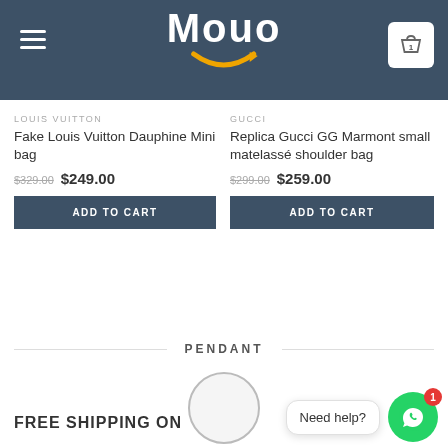Mouo — navigation header with hamburger menu and cart (1 item)
LOUIS VUITTON
Fake Louis Vuitton Dauphine Mini bag
$329.00  $249.00
GUCCI
Replica Gucci GG Marmont small matelassé shoulder bag
$299.00  $259.00
PENDANT
[Figure (illustration): Gray circular placeholder image for pendant product]
FREE SHIPPING ON
Need help?